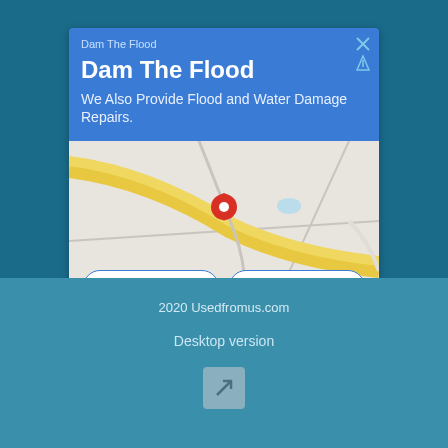Dam The Flood
Dam The Flood
We Also Provide Flood and Water Damage Repairs.
[Figure (map): Google Maps style map showing road layout with a red location pin marker in the center, with Directions and Call buttons overlaid at the bottom.]
2020 Usedfromus.com
Desktop version